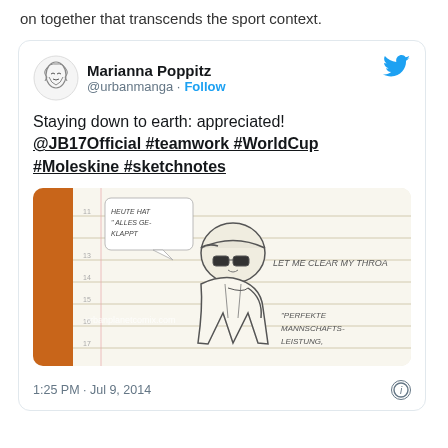on together that transcends the sport context.
[Figure (screenshot): Embedded tweet by @urbanmanga (Marianna Poppitz) showing sketchnote artwork of a person in a cap and sunglasses with German text. Tweet text: 'Staying down to earth: appreciated! @JB17Official #teamwork #WorldCup #Moleskine #sketchnotes'. Timestamp: 1:25 PM · Jul 9, 2014.]